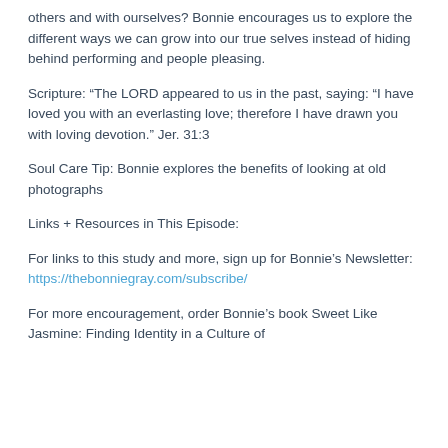others and with ourselves? Bonnie encourages us to explore the different ways we can grow into our true selves instead of hiding behind performing and people pleasing.
Scripture: “The LORD appeared to us in the past, saying: “I have loved you with an everlasting love; therefore I have drawn you with loving devotion.” Jer. 31:3
Soul Care Tip: Bonnie explores the benefits of looking at old photographs
Links + Resources in This Episode:
For links to this study and more, sign up for Bonnie’s Newsletter: https://thebonniegray.com/subscribe/
For more encouragement, order Bonnie’s book Sweet Like Jasmine: Finding Identity in a Culture of